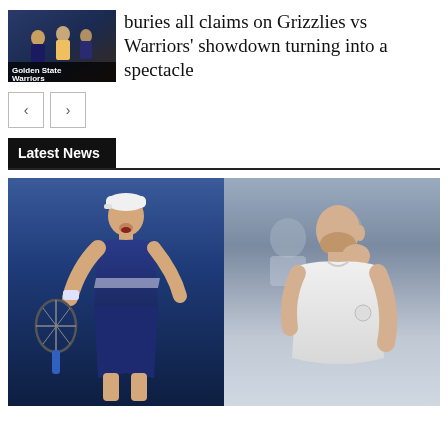[Figure (photo): Golden State Warriors thumbnail image with dark background showing players]
buries all claims on Grizzlies vs Warriors' showdown turning into a spectacle
[Figure (other): Navigation prev/next buttons]
Latest News
[Figure (photo): Two tennis players side by side: left player in navy blue outfit celebrates with racket, right player in white shirt looks on. Both appear to be at the US Open.]